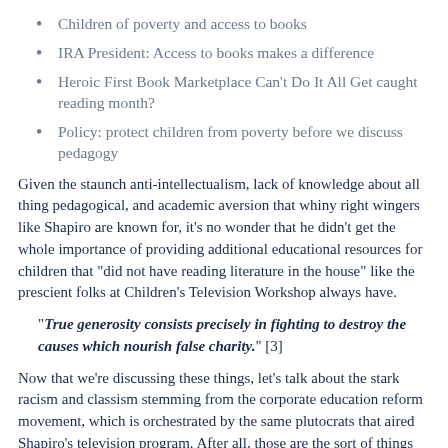Children of poverty and access to books
IRA President: Access to books makes a difference
Heroic First Book Marketplace Can't Do It All Get caught reading month?
Policy: protect children from poverty before we discuss pedagogy
Given the staunch anti-intellectualism, lack of knowledge about all thing pedagogical, and academic aversion that whiny right wingers like Shapiro are known for, it's no wonder that he didn't get the whole importance of providing additional educational resources for children that "did not have reading literature in the house" like the prescient folks at Children's Television Workshop always have.
"True generosity consists precisely in fighting to destroy the causes which nourish false charity." [3]
Now that we're discussing these things, let's talk about the stark racism and classism stemming from the corporate education reform movement, which is orchestrated by the same plutocrats that aired Shapiro's television program. After all, those are the sort of things